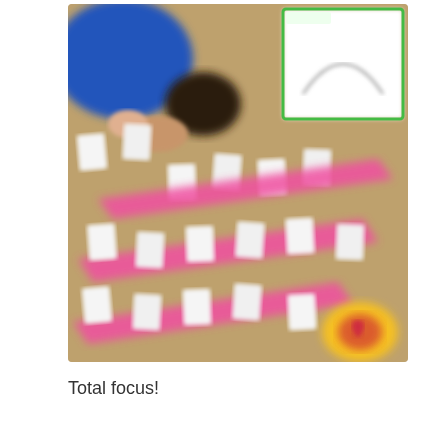[Figure (photo): Overhead/top-down blurred photo of a child (seen from above, wearing blue top) working on a floor activity. The floor is tan/brown and covered with white cards and pink strips/banners arranged in diagonal rows, suggesting a card-sorting or matching game. In the upper right corner is an inset image showing a worksheet or diagram with a green border. A colorful object (possibly a game box) is visible in the lower right corner.]
Total focus!